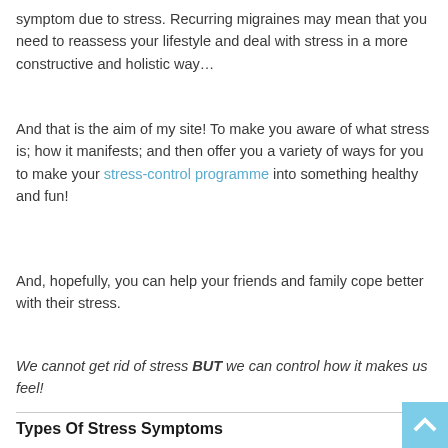symptom due to stress. Recurring migraines may mean that you need to reassess your lifestyle and deal with stress in a more constructive and holistic way…
And that is the aim of my site! To make you aware of what stress is; how it manifests; and then offer you a variety of ways for you to make your stress-control programme into something healthy and fun!
And, hopefully, you can help your friends and family cope better with their stress.
We cannot get rid of stress BUT we can control how it makes us feel!
Types Of Stress Symptoms